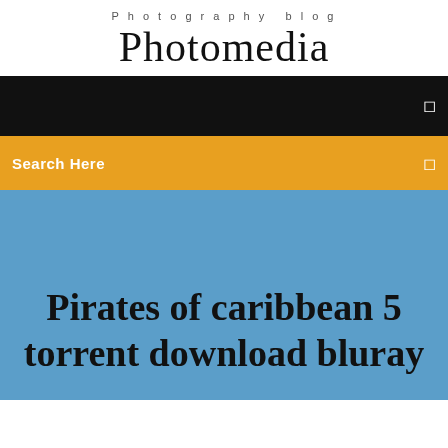Photography blog
Photomedia
☰
Search Here ☰
Pirates of caribbean 5 torrent download bluray